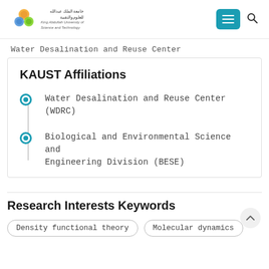KAUST - King Abdullah University of Science and Technology
Water Desalination and Reuse Center
KAUST Affiliations
Water Desalination and Reuse Center (WDRC)
Biological and Environmental Science and Engineering Division (BESE)
Research Interests Keywords
Density functional theory   Molecular dynamics